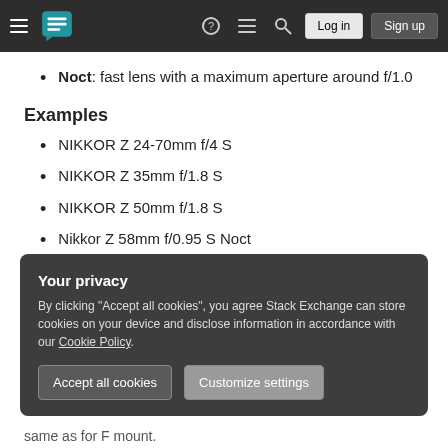Stack Exchange navigation bar with Log in and Sign up buttons
Noct: fast lens with a maximum aperture around f/1.0
Examples
NIKKOR Z 24-70mm f/4 S
NIKKOR Z 35mm f/1.8 S
NIKKOR Z 50mm f/1.8 S
Nikkor Z 58mm f/0.95 S Noct
Your privacy
By clicking "Accept all cookies", you agree Stack Exchange can store cookies on your device and disclose information in accordance with our Cookie Policy.
same as for F mount.